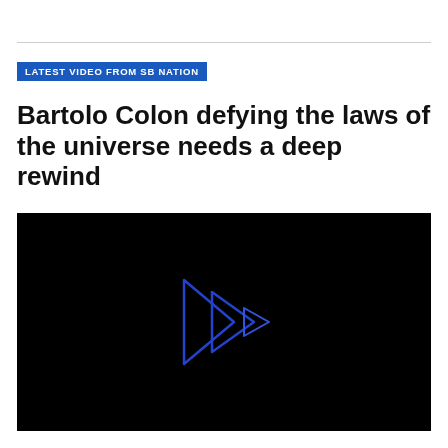LATEST VIDEO FROM SB NATION
Bartolo Colon defying the laws of the universe needs a deep rewind
[Figure (screenshot): Black video player background with a stylized blue forward/play icon made of overlapping triangle outlines in the center]